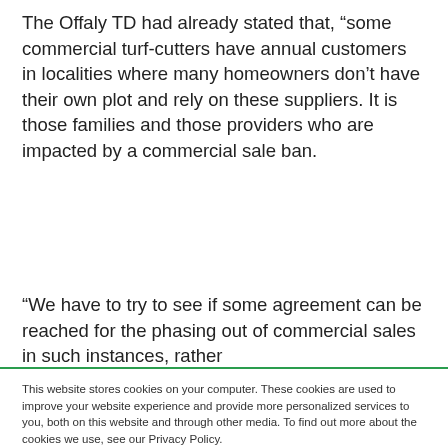The Offaly TD had already stated that, “some commercial turf-cutters have annual customers in localities where many homeowners don’t have their own plot and rely on these suppliers. It is those families and those providers who are impacted by a commercial sale ban.
“We have to try to see if some agreement can be reached for the phasing out of commercial sales in such instances, rather
This website stores cookies on your computer. These cookies are used to improve your website experience and provide more personalized services to you, both on this website and through other media. To find out more about the cookies we use, see our Privacy Policy.
We won't track your information when you visit our site. But in order to comply with your preferences, we'll have to use just one tiny cookie so that you're not asked to make this choice again.